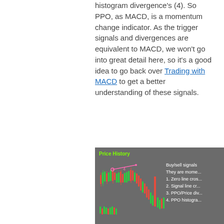histogram divergence's (4). So PPO, as MACD, is a momentum change indicator. As the trigger signals and divergences are equivalent to MACD, we won't go into great detail here, so it's a good idea to go back over Trading with MACD to get a better understanding of these signals.
[Figure (screenshot): A stock price history chart showing candlestick data with green and red candles on a dark gray background. A pink divergence line is drawn across peaks. On the right side, white text lists: Buy/sell signals, They are mome..., 1. Zero line cros..., 2. Signal line cr..., 3. PPO/Price div..., 4. PPO histogra...]